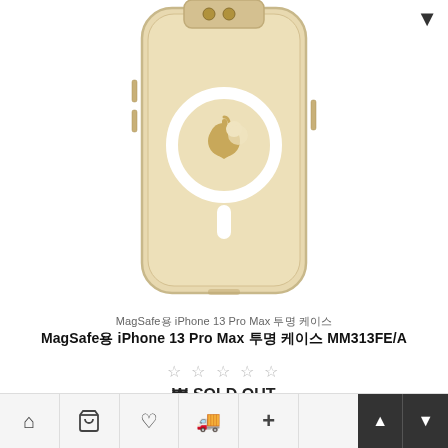[Figure (photo): Product image of a clear MagSafe iPhone 13 Pro Max case with Apple logo visible through the transparent back. The case is shown from the rear, gold/champagne color tint, with white MagSafe ring and connector visible.]
MagSafe용 iPhone 13 Pro Max 투명 케이스
MagSafe용 iPhone 13 Pro Max 투명 케이스 MM313FE/A
☆ ☆ ☆ ☆ ☆
₩ SOLD OUT
Home | Cart | Wishlist | Shipping | Add | Navigation up/down